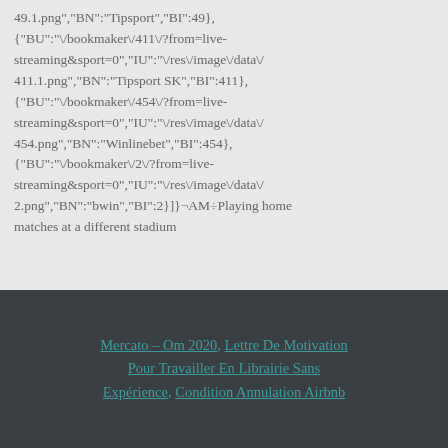49.1.png","BN":"Tipsport","BI":49},{"BU":"\/bookmaker\/411\/?from=live-streaming&sport=0","IU":"\/res\/image\/data\/411.1.png","BN":"Tipsport SK","BI":411},{"BU":"\/bookmaker\/454\/?from=live-streaming&sport=0","IU":"\/res\/image\/data\/454.png","BN":"Winlinebet","BI":454},{"BU":"\/bookmaker\/2\/?from=live-streaming&sport=0","IU":"\/res\/image\/data\/2.png","BN":"bwin","BI":2}]}¬AM÷Playing home matches at a different stadium
Mercato – Om 2020, Lettre De Motivation Pour Travailler En Librairie Sans Expérience, Condition Annulation Airbnb